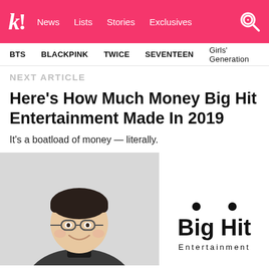k! News Lists Stories Exclusives
BTS  BLACKPINK  TWICE  SEVENTEEN  Girls' Generation
NEXT ARTICLE
Here's How Much Money Big Hit Entertainment Made In 2019
It's a boatload of money — literally.
[Figure (photo): Man with glasses smiling, wearing a dark blazer over a black turtleneck, against a light grey background. Big Hit Entertainment logo visible on the right side.]